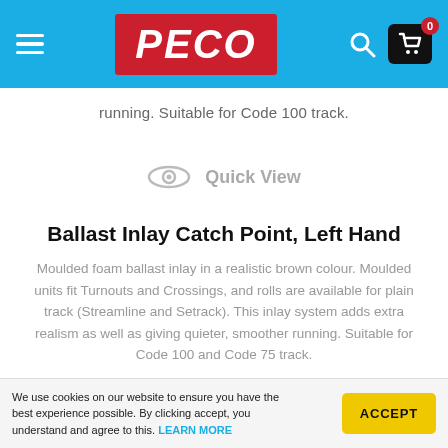PECO
running. Suitable for Code 100 track.
Quick View
Ballast Inlay Catch Point, Left Hand
Moulded foam ballast inlay in a realistic brown colour. Moulded units fit Turnouts and Crossings, and rolls are available for plain track (Streamline and Setrack). This inlay system adds extra realism as well as giving quieter, smoother running. Suitable for Code 100 and Code 75 track.
We use cookies on our website to ensure you have the best experience possible. By clicking accept, you understand and agree to this. LEARN MORE